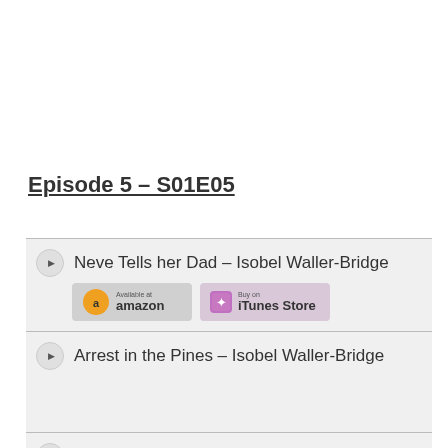Episode 5 – S01E05
Neve Tells her Dad – Isobel Waller-Bridge
Arrest in the Pines – Isobel Waller-Bridge
In Cold Light – Vanbur